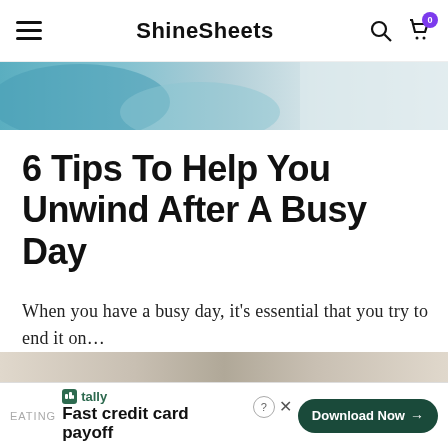ShineSheets
[Figure (photo): Partial view of blue pillows and white bedding, website hero image for ShineSheets blog]
6 Tips To Help You Unwind After A Busy Day
When you have a busy day, it's essential that you try to end it on…
CONTINUE READING
[Figure (photo): Partial thumbnail strip visible above advertisement bar]
EATING  tally  Fast credit card payoff  Download Now →